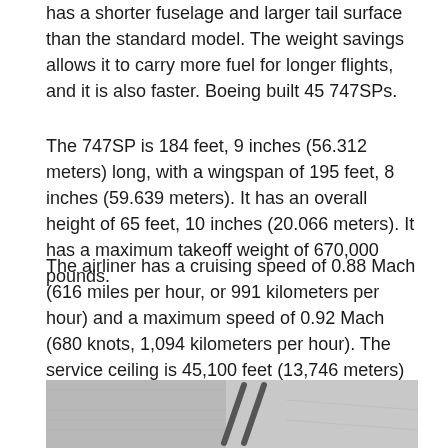has a shorter fuselage and larger tail surface than the standard model. The weight savings allows it to carry more fuel for longer flights, and it is also faster. Boeing built 45 747SPs.
The 747SP is 184 feet, 9 inches (56.312 meters) long, with a wingspan of 195 feet, 8 inches (59.639 meters). It has an overall height of 65 feet, 10 inches (20.066 meters). It has a maximum takeoff weight of 670,000 pounds.
The airliner has a cruising speed of 0.88 Mach (616 miles per hour, or 991 kilometers per hour) and a maximum speed of 0.92 Mach (680 knots, 1,094 kilometers per hour). The service ceiling is 45,100 feet (13,746 meters) and the range is 7,650 miles (12,311 kilometers), carrying 276 passengers and baggage. The fuel capacity is 47,210 gallons. (178,709 liters).
[Figure (photo): Partial bottom view of an aircraft, showing the underside and tail area. Photo is partially cut off at the bottom of the page.]